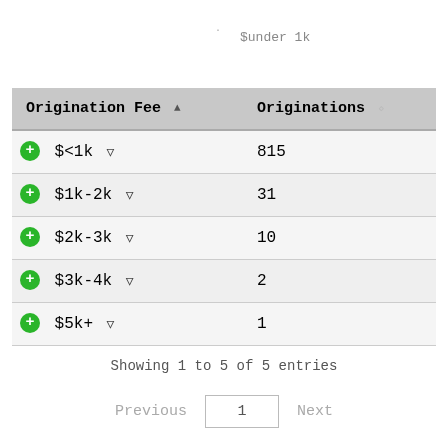$under 1k
| Origination Fee | Originations |
| --- | --- |
| $<1k | 815 |
| $1k-2k | 31 |
| $2k-3k | 10 |
| $3k-4k | 2 |
| $5k+ | 1 |
Showing 1 to 5 of 5 entries
Previous  1  Next